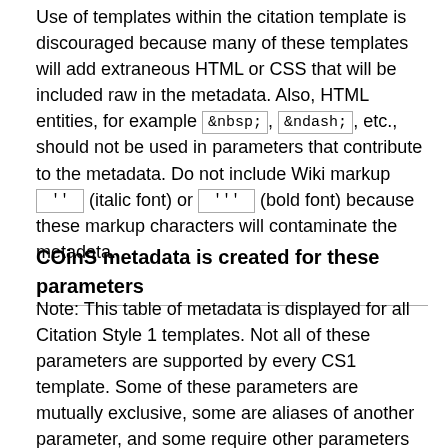Use of templates within the citation template is discouraged because many of these templates will add extraneous HTML or CSS that will be included raw in the metadata. Also, HTML entities, for example &nbsp;, &ndash;, etc., should not be used in parameters that contribute to the metadata. Do not include Wiki markup '' (italic font) or ''' (bold font) because these markup characters will contaminate the metadata.
COinS metadata is created for these parameters
Note: This table of metadata is displayed for all Citation Style 1 templates. Not all of these parameters are supported by every CS1 template. Some of these parameters are mutually exclusive, some are aliases of another parameter, and some require other parameters to be present. Please refer to each template's documentation